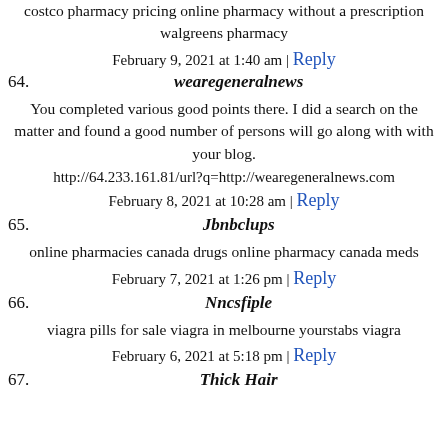costco pharmacy pricing online pharmacy without a prescription walgreens pharmacy
February 9, 2021 at 1:40 am | Reply
64. wearegeneralnews
You completed various good points there. I did a search on the matter and found a good number of persons will go along with with your blog.
http://64.233.161.81/url?q=http://wearegeneralnews.com
February 8, 2021 at 10:28 am | Reply
65. Jbnbclups
online pharmacies canada drugs online pharmacy canada meds
February 7, 2021 at 1:26 pm | Reply
66. Nncsfiple
viagra pills for sale viagra in melbourne yourstabs viagra
February 6, 2021 at 5:18 pm | Reply
67. Thick Hair